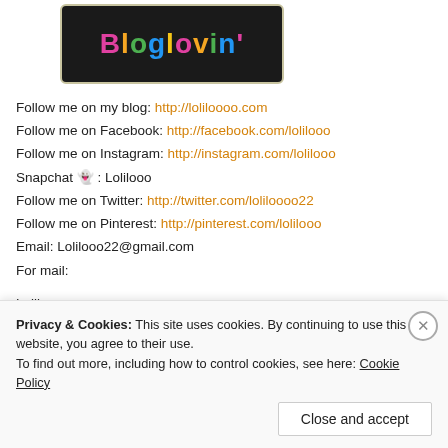[Figure (logo): Bloglovin' logo in colorful text on dark rounded rectangle with tan border]
Follow me on my blog: http://loliloooo.com
Follow me on Facebook: http://facebook.com/lolilooo
Follow me on Instagram: http://instagram.com/lolilooo
Snapchat 👻 : Lolilooo
Follow me on Twitter: http://twitter.com/loliloooo22
Follow me on Pinterest: http://pinterest.com/lolilooo
Email: Lolilooo22@gmail.com
For mail:
Loliloooo.com
P.O. Box 165104
Miami, Fl. 33116-5104
Privacy & Cookies: This site uses cookies. By continuing to use this website, you agree to their use.
To find out more, including how to control cookies, see here: Cookie Policy